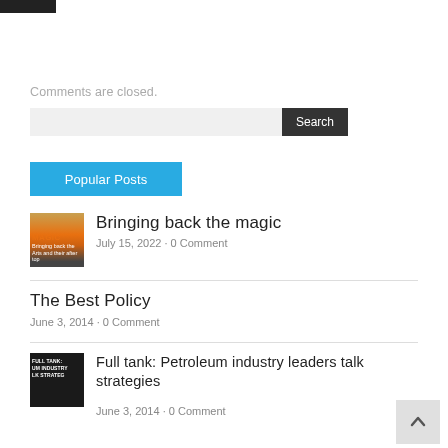[Figure (other): Dark header bar/logo at top left]
Comments are closed.
[Figure (other): Search bar with text input and Search button]
Popular Posts
[Figure (other): Thumbnail image for 'Bringing back the magic' post]
Bringing back the magic
July 15, 2022 - 0 Comment
The Best Policy
June 3, 2014 - 0 Comment
[Figure (other): Thumbnail image for 'Full tank: Petroleum industry leaders talk strategies' post]
Full tank: Petroleum industry leaders talk strategies
June 3, 2014 - 0 Comment